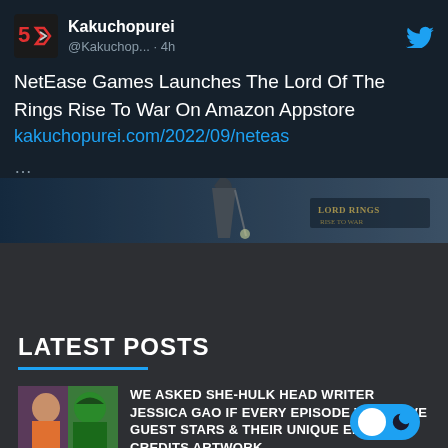[Figure (screenshot): Tweet from Kakuchopurei (@Kakuchop...) posted 4h ago about NetEase Games Launching The Lord Of The Rings Rise To War On Amazon Appstore, with a link kakuchopurei.com/2022/09/neteas]
[Figure (photo): Banner image showing a wizard figure (Gandalf) with Lord of the Rings branding at bottom right]
LATEST POSTS
[Figure (photo): Thumbnail image showing She-Hulk character with green skin next to a woman in colorful clothing]
WE ASKED SHE-HULK HEAD WRITER JESSICA GAO IF EVERY EPISODE WILL HAVE GUEST STARS & THEIR UNIQUE END CREDITS ARTWORK
By Alleef Ashaari | August 12, 2022